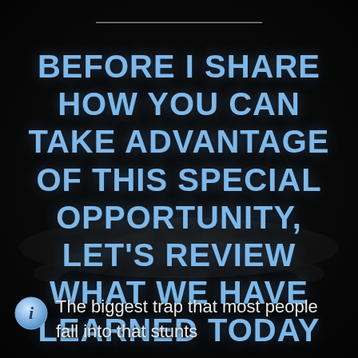[Figure (photo): Dark background with silhouette of a person doing a wide push-up / plank pose, arms extended wide, viewed from above. Horizontal divider line near top center.]
BEFORE I SHARE HOW YOU CAN TAKE ADVANTAGE OF THIS SPECIAL OPPORTUNITY, LET'S REVIEW WHAT WE HAVE LEARNED TODAY
The biggest trap that most people fall into that stunts their...